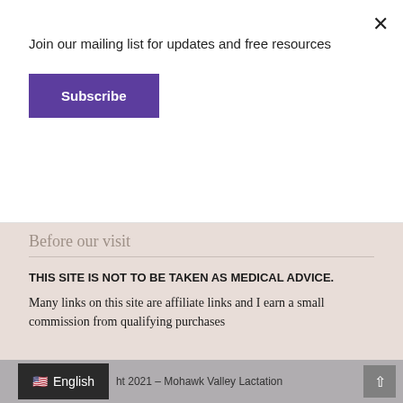Join our mailing list for updates and free resources
Subscribe
Before our visit
THIS SITE IS NOT TO BE TAKEN AS MEDICAL ADVICE.
Many links on this site are affiliate links and I earn a small commission from qualifying purchases
English  ht 2021 – Mohawk Valley Lactation